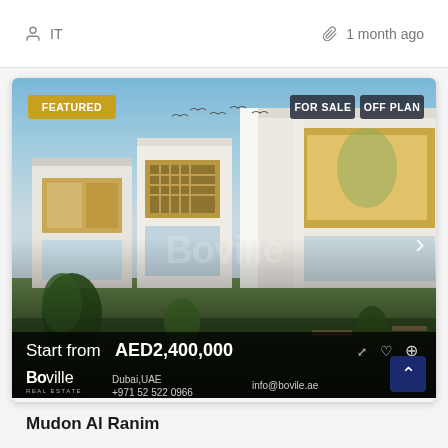IT | 1 month ago
[Figure (photo): Real estate listing photo showing modern villa townhouses with white and wood facade, glass balconies, landscaped garden. Overlays: FEATURED badge, FOR SALE and OFF PLAN badges, price 'Start from AED2,400,000', Boville Real Estate branding with Dubai,UAE, +971 52 522 0966, info@bovile.ae]
Mudon Al Ranim